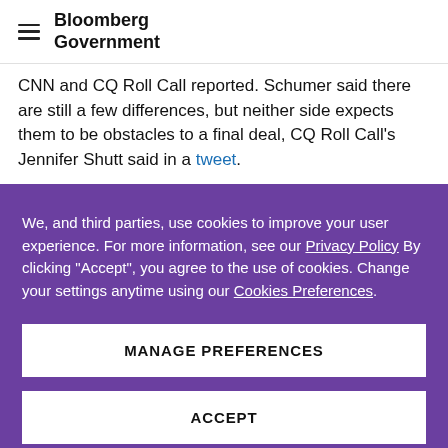Bloomberg Government
CNN and CQ Roll Call reported. Schumer said there are still a few differences, but neither side expects them to be obstacles to a final deal, CQ Roll Call's Jennifer Shutt said in a tweet.
We, and third parties, use cookies to improve your user experience. For more information, see our Privacy Policy By clicking "Accept", you agree to the use of cookies. Change your settings anytime using our Cookies Preferences.
MANAGE PREFERENCES
ACCEPT